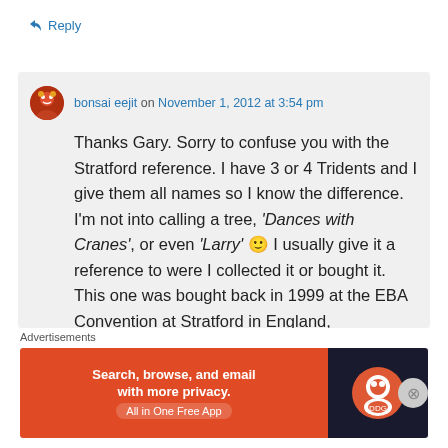↳ Reply
bonsai eejit on November 1, 2012 at 3:54 pm
Thanks Gary. Sorry to confuse you with the Stratford reference. I have 3 or 4 Tridents and I give them all names so I know the difference. I'm not into calling a tree, 'Dances with Cranes', or even 'Larry' 🙂 I usually give it a reference to were I collected it or bought it. This one was bought back in 1999 at the EBA Convention at Stratford in England,
Advertisements
[Figure (screenshot): DuckDuckGo advertisement banner: Search, browse, and email with more privacy. All in One Free App]